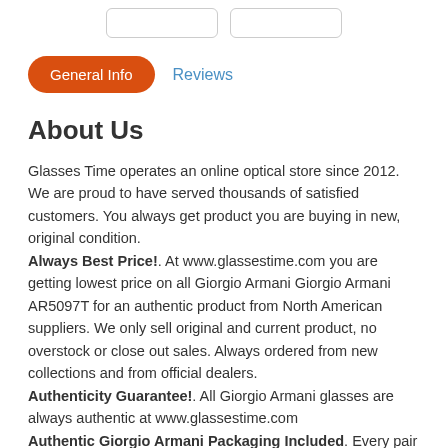General Info | Reviews
About Us
Glasses Time operates an online optical store since 2012. We are proud to have served thousands of satisfied customers. You always get product you are buying in new, original condition. Always Best Price!. At www.glassestime.com you are getting lowest price on all Giorgio Armani Giorgio Armani AR5097T for an authentic product from North American suppliers. We only sell original and current product, no overstock or close out sales. Always ordered from new collections and from official dealers. Authenticity Guarantee!. All Giorgio Armani glasses are always authentic at www.glassestime.com Authentic Giorgio Armani Packaging Included. Every pair of %filed_brand% glasses purchased from www.glassestime.com always ships in original brand name glasses case and cleaning